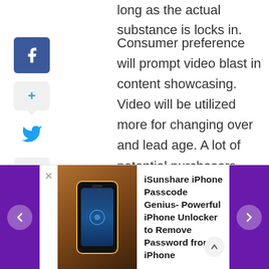long as the actual substance is locks in.
[Figure (other): Social media sharing sidebar with Facebook icon, share button with plus, Twitter bird icon, share button with plus, and Pinterest icon]
Consumer preference will prompt video blast in content showcasing. Video will be utilized more for changing over and lead age. A lot of potential purchasers would prefer not to converse with sales reps. This is the place where video can impact deals in later stages – explainer recordings, video advertisements, and so
[Figure (other): Advertisement banner for iSunshare iPhone Passcode Genius- Powerful iPhone Unlocker to Remove Password from iPhone, showing a phone image with purple navigation arrows on left and right, and a close X button]